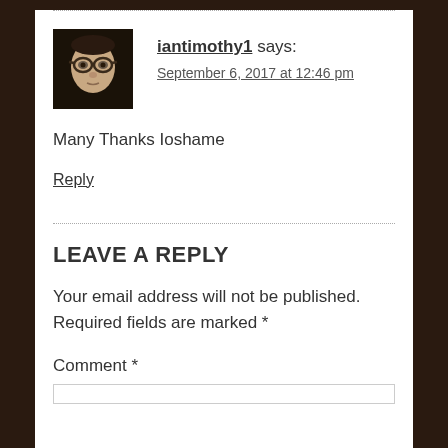iantimothy1 says: September 6, 2017 at 12:46 pm
Many Thanks Ioshame
Reply
LEAVE A REPLY
Your email address will not be published. Required fields are marked *
Comment *